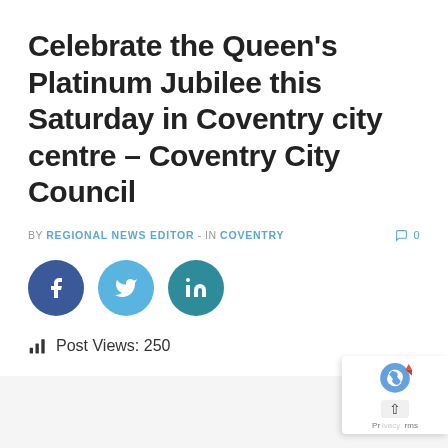Celebrate the Queen's Platinum Jubilee this Saturday in Coventry city centre – Coventry City Council
BY REGIONAL NEWS EDITOR - IN COVENTRY   0
[Figure (other): Social media share buttons: Facebook (dark blue circle), Twitter (light blue circle), LinkedIn (teal circle)]
Post Views: 250